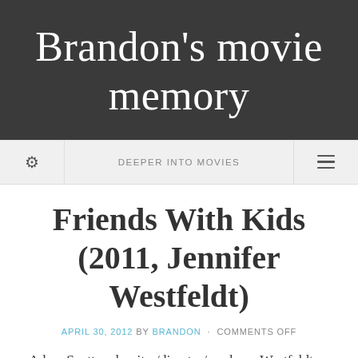Brandon's movie memory
DEEPER INTO MOVIES
Friends With Kids (2011, Jennifer Westfeldt)
APRIL 30, 2012 BY BRANDON · COMMENTS OFF
Adam Scott and writer/director/producer Westfeldt are good people, good friends, but unlucky in love. Will they end up together? Of course they will, but hold on a